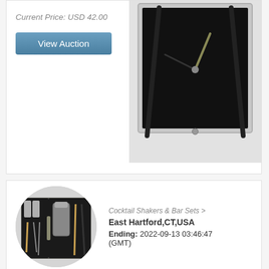Current Price: USD 42.00
View Auction
[Figure (photo): Close-up photograph of a black clock face with metallic frame, showing hands and gold accent detail]
Cocktail Shakers & Bar Sets >
East Hartford,CT,USA
Ending: 2022-09-13 03:46:47 (GMT)
[Figure (photo): Circular cropped photo of an open travel cocktail bar set case containing shakers, measuring cups, and bar tools with black interior]
Vintage